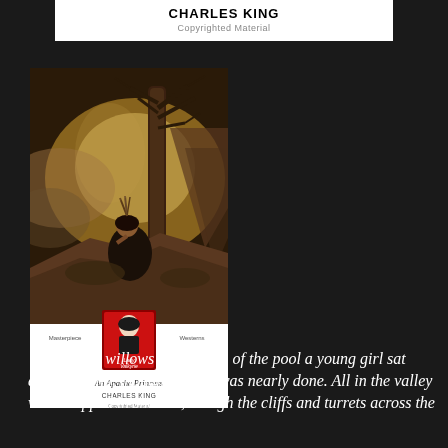CHARLES KING
Copyrighted Material
[Figure (photo): Book cover of 'An Apache Princess' by Charles King. Shows a painting of a Native American woman seated by a large bare tree against a dramatic sky. Bottom portion shows the book cover text: 'Masterpiece Westerns', Lady Valkyrie logo, 'An Apache Princess', 'CHARLES KING', 'Copyrighted Material'.]
“Under the willows at the edge of the pool a young girl sat daydreaming, though the day was nearly done. All in the valley was wrapped in shadow, though the cliffs and turrets across the